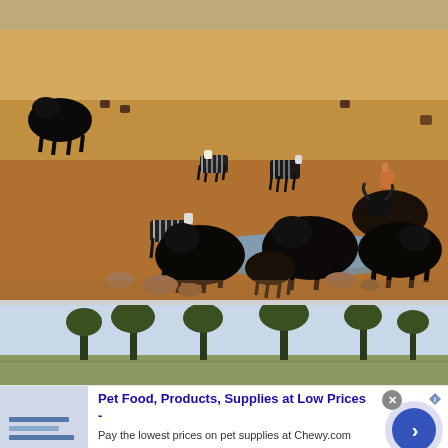[Figure (photo): Safari wildlife scene: zebras, wildebeest/buffalo, and other African animals on dry savanna grassland near a waterhole. Several large dark buffalo/elephants drinking at a muddy watering hole in the foreground. Zebras and antelope in the midground. Dry golden grassland in background.]
[Figure (photo): Safari landscape: African savanna with acacia trees against a light blue sky, viewed from a low angle.]
Pet Food, Products, Supplies at Low Prices -
Pay the lowest prices on pet supplies at Chewy.com
chewy.com